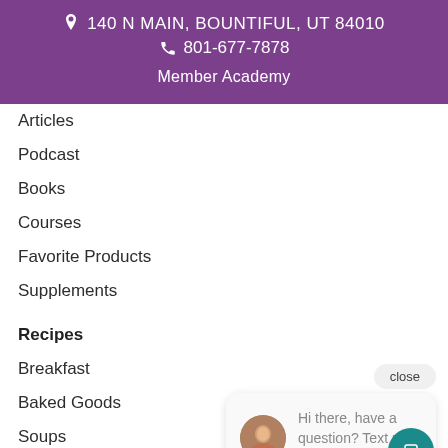140 N MAIN, BOUNTIFUL, UT 84010
801-677-7878
Member Academy
Articles
Podcast
Books
Courses
Favorite Products
Supplements
Recipes
Breakfast
Baked Goods
Soups
Sides & Snacks
[Figure (screenshot): Chat popup widget with close button and message: Hi there, have a question? Text us here. Also a teal chat button in bottom right corner.]